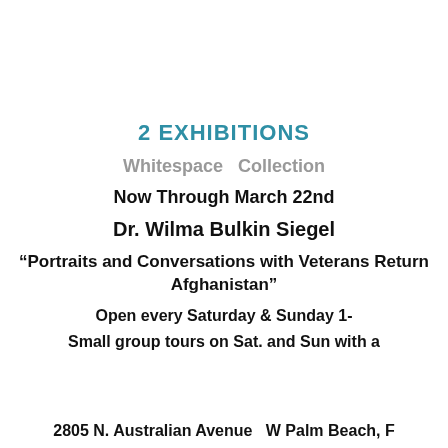2 EXHIBITIONS
Whitespace  Collection
Now Through March 22nd
Dr. Wilma Bulkin Siegel
“Portraits and Conversations with Veterans Returning from Afghanistan”
Open every Saturday & Sunday 1-
Small group tours on Sat. and Sun with a
2805 N. Australian Avenue   W Palm Beach, F